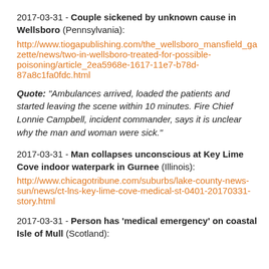2017-03-31 - Couple sickened by unknown cause in Wellsboro (Pennsylvania): http://www.tiogapublishing.com/the_wellsboro_mansfield_gazette/news/two-in-wellsboro-treated-for-possible-poisoning/article_2ea5968e-1617-11e7-b78d-87a8c1fa0fdc.html
Quote: "Ambulances arrived, loaded the patients and started leaving the scene within 10 minutes. Fire Chief Lonnie Campbell, incident commander, says it is unclear why the man and woman were sick."
2017-03-31 - Man collapses unconscious at Key Lime Cove indoor waterpark in Gurnee (Illinois): http://www.chicagotribune.com/suburbs/lake-county-news-sun/news/ct-lns-key-lime-cove-medical-st-0401-20170331-story.html
2017-03-31 - Person has 'medical emergency' on coastal Isle of Mull (Scotland):